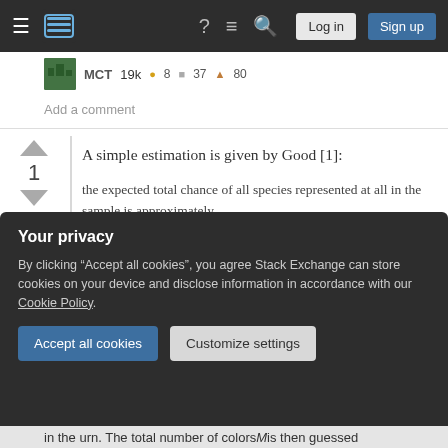[Figure (screenshot): Stack Exchange navigation bar with hamburger menu, logo, help icon, chat icon, search icon, Log in and Sign up buttons]
19k 8 37 80
Add a comment
A simple estimation is given by Good [1]:
the expected total chance of all species represented at all in the sample is approximately
Your privacy
By clicking "Accept all cookies", you agree Stack Exchange can store cookies on your device and disclose information in accordance with our Cookie Policy.
Accept all cookies
Customize settings
in the urn. The total number of colors M is then guessed